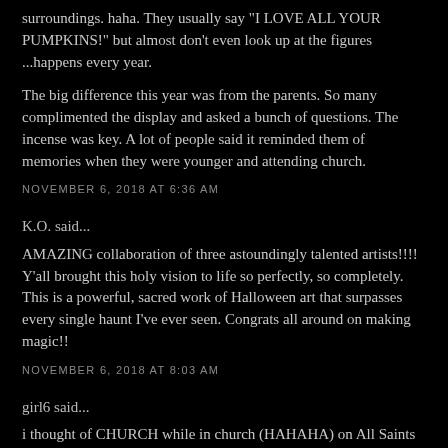surroundings. haha. They usually say "I LOVE ALL YOUR PUMPKINS!" but almost don't even look up at the figures ...happens every year.
The big difference this year was from the parents. So many complimented the display and asked a bunch of questions. The incense was key. A lot of people said it reminded them of memories when they were younger and attending church.
NOVEMBER 6, 2018 AT 6:36 AM
K.O. said...
AMAZING collaboration of three astoundingly talented artists!!!! Y'all brought this holy vision to life so perfectly, so completely. This is a powerful, sacred work of Halloween art that surpasses every single haunt I've ever seen. Congrats all around on making magic!!
NOVEMBER 6, 2018 AT 8:03 AM
girl6 said...
i thought of CHURCH while in church (HAHAHA) on All Saints day..especially, while listening to one of my favourite scripture readings from the book of Revelation. it's SO beautiful. when THE angels were mentioned (i